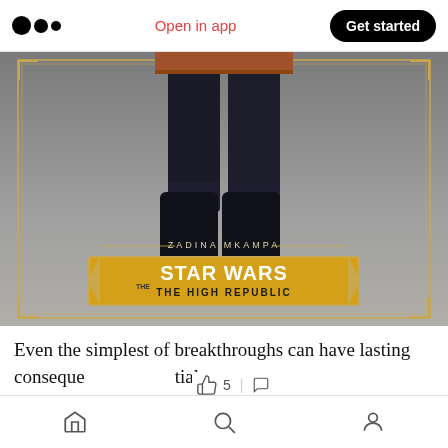Open in app | Get started
[Figure (illustration): Star Wars: The High Republic book cover art showing legs of a character (Zadina Mkampa) standing, with gold decorative border frame. Text reads 'ZADINA MKAMPA' and 'STAR WARS THE HIGH REPUBLIC' on a gold badge/banner.]
Even the simplest of breakthroughs can have lasting consequences beyond our initial comprehension. Back in 2015, John Sylvan, the
Home | Search | Profile